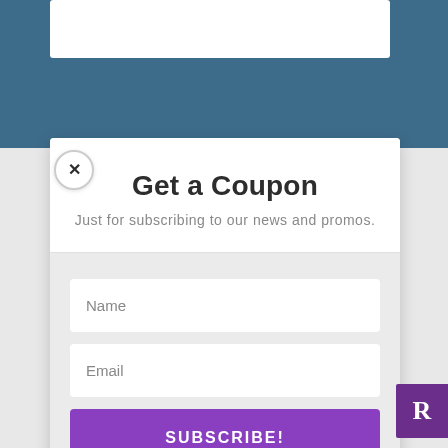Get a Coupon
Just for subscribing to our news and promos.
Name
Email
SUBSCRIBE!
By clicking "Subscribe" you agree to our Privacy Policy.